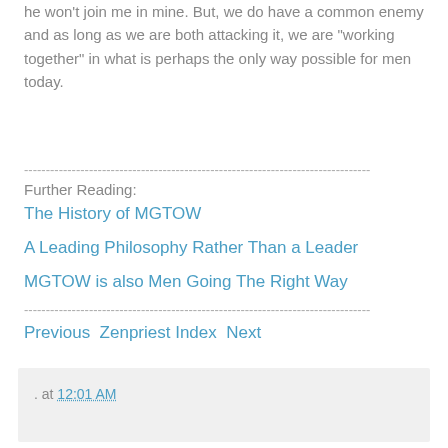he won't join me in mine. But, we do have a common enemy and as long as we are both attacking it, we are "working together" in what is perhaps the only way possible for men today.
--------------------------------------------------------------------------------
Further Reading:
The History of MGTOW
A Leading Philosophy Rather Than a Leader
MGTOW is also Men Going The Right Way
--------------------------------------------------------------------------------
Previous Zenpriest Index Next
. at 12:01 AM